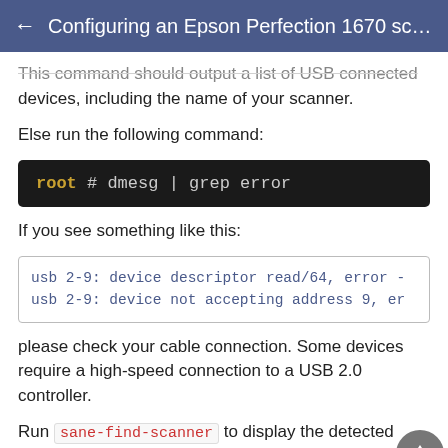← Configuring an Epson Perfection 1670 sca...
This command should output a list of USB connected devices, including the name of your scanner.
Else run the following command:
root # dmesg | grep error
If you see something like this:
usb 2-9: device descriptor read/64, error -
usb 2-9: device not accepting address 9, er
please check your cable connection. Some devices require a high-speed connection to a USB 2.0 controller.
Run sane-find-scanner to display the detected scanners. You should see something like this: